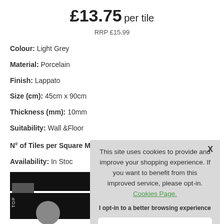£13.75 per tile
RRP £15.99
Colour: Light Grey
Material: Porcelain
Finish: Lappato
Size (cm): 45cm x 90cm
Thickness (mm): 10mm
Suitability: Wall &Floor
N° of Tiles per Square Metre (m²): 2.47 Tiles
Availability: In Stock
Loading...
[Figure (screenshot): Cookie consent popup overlay showing site cookie notice with Cookies Page link, opt-in text, and Accept Cookies button]